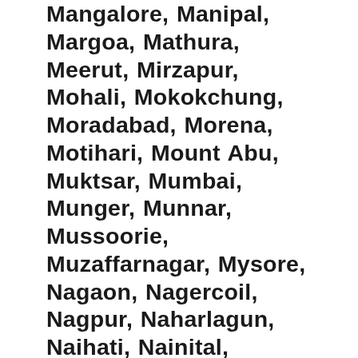Mangalore, Manipal, Margoa, Mathura, Meerut, Mirzapur, Mohali, Mokokchung, Moradabad, Morena, Motihari, Mount Abu, Muktsar, Mumbai, Munger, Munnar, Mussoorie, Muzaffarnagar, Mysore, Nagaon, Nagercoil, Nagpur, Naharlagun, Naihati, Nainital, Nalgonda, Namakkal, Nanded, Narnaul, Nasik, Nathdwara, Navsari, Neemuch, Noida, Ooty, Orchha, Palakkad, Palanpur, Pali, Palwal, Panaji, Panchkula, Pandharpur, Panipat, Panvel, Pathanamthitta, Patna, Patna Sahib, Periyar, Phagwara, Pilibhit, Pinjaur, Pollachi, Pondicherry, Ponnani, Porbandar, Port Blair, Porur, Pudukkottai, Punalur, Pune, Puri, Purnia, Pushkar, Raipur, Rajahmundry, Rajkot, Rameswaram, Ranchi, Ratlam, Raxual, Rewa, Rewari, Rishikesh, Rourkela, Sagar, Saharanpur, Salem, Salt Lake, Samastipur, Sambalpur, Sambhal, Sanchi, Sangareddy, Sangli, Sangrur, Sarnath, Sasaram,